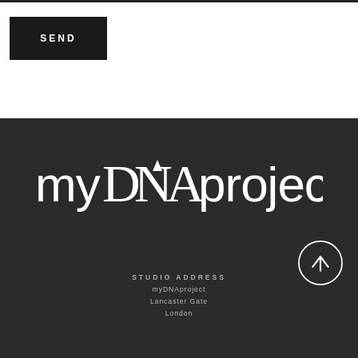SEND
[Figure (logo): myDNAproject logo in white on dark background]
STUDIO ADDRESS
myDNAproject
Lancaster Gate
London